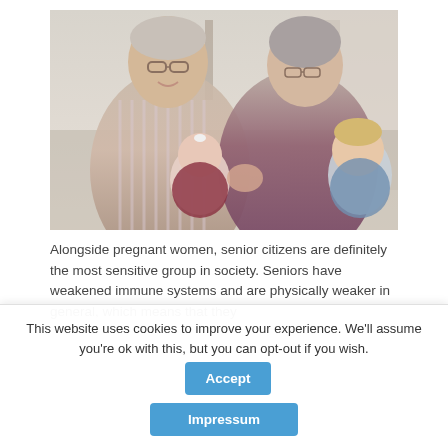[Figure (photo): Elderly couple (grandparents) smiling and holding two young infants/toddlers outdoors. The grandfather is on the left wearing a striped shirt, the grandmother on the right wearing a dark top, both holding babies.]
Alongside pregnant women, senior citizens are definitely the most sensitive group in society. Seniors have weakened immune systems and are physically weaker in general, which means that they...
This website uses cookies to improve your experience. We'll assume you're ok with this, but you can opt-out if you wish.
Accept
Impressum